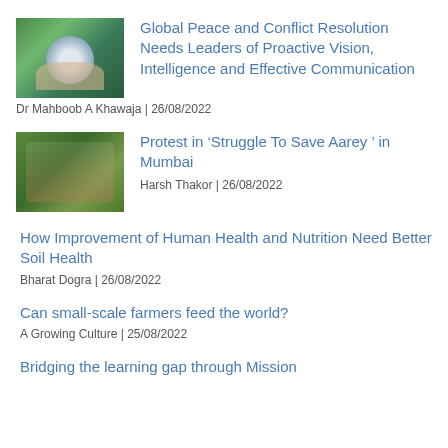[Figure (photo): Thumbnail image of hands holding a globe with nature background]
Global Peace and Conflict Resolution Needs Leaders of Proactive Vision, Intelligence and Effective Communication
Dr Mahboob A Khawaja | 26/08/2022
[Figure (photo): Thumbnail image of protest crowd with signs, green trees background]
Protest in ‘Struggle To Save Aarey ’ in Mumbai
Harsh Thakor | 26/08/2022
How Improvement of Human Health and Nutrition Need Better Soil Health
Bharat Dogra | 26/08/2022
Can small-scale farmers feed the world?
A Growing Culture | 25/08/2022
Bridging the learning gap through Mission